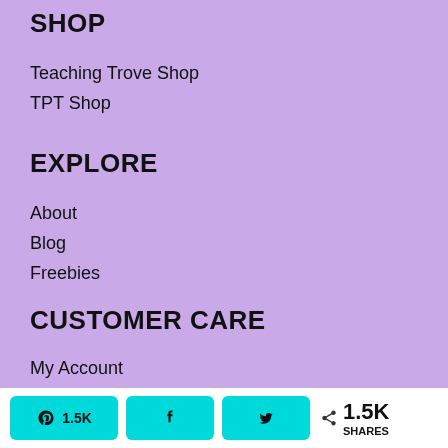SHOP
Teaching Trove Shop
TPT Shop
EXPLORE
About
Blog
Freebies
CUSTOMER CARE
My Account
FAQ
Contact
1.5K  1.5K  SHARES